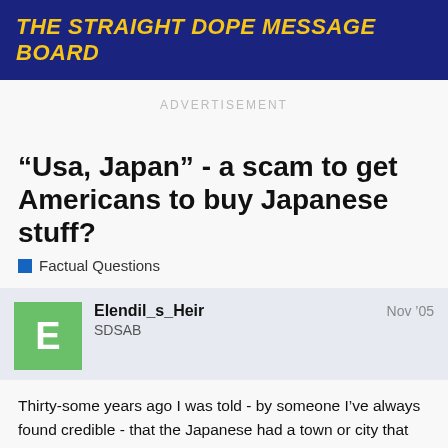THE STRAIGHT DOPE MESSAGE BOARD
ADVERTISEMENT
“Usa, Japan” - a scam to get Americans to buy Japanese stuff?
Factual Questions
Elendil_s_Heir  SDSAB  Nov ’05
Thirty-some years ago I was told - by someone I’ve always found credible - that the Japanese had a town or city that they’d renamed “Usa.” It became a big manufacturing hub. Products made there would be (truthfully if misleadingly) stamped “MADE IN USA” so that gullible, buy-American consumers would fork over their hard-earned cash, thinking the products were